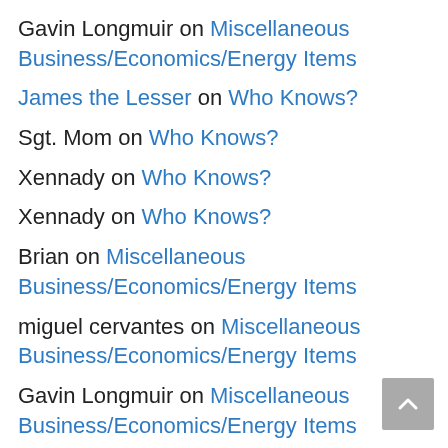Gavin Longmuir on Miscellaneous Business/Economics/Energy Items
James the Lesser on Who Knows?
Sgt. Mom on Who Knows?
Xennady on Who Knows?
Xennady on Who Knows?
Brian on Miscellaneous Business/Economics/Energy Items
miguel cervantes on Miscellaneous Business/Economics/Energy Items
Gavin Longmuir on Miscellaneous Business/Economics/Energy Items
Brian on Miscellaneous Business/Economics/Energy Items
MCS on Miscellaneous